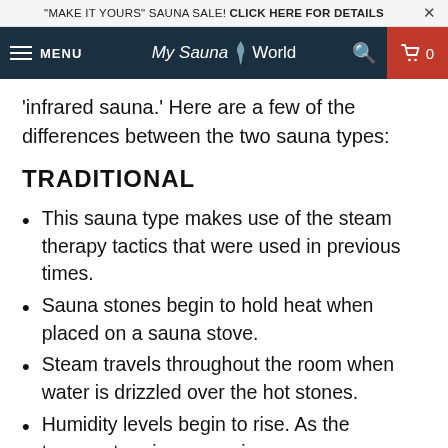"MAKE IT YOURS" SAUNA SALE! CLICK HERE FOR DETAILS
MENU | My Sauna World | 🔍 | 🛒 0
'infrared sauna.' Here are a few of the differences between the two sauna types:
TRADITIONAL
This sauna type makes use of the steam therapy tactics that were used in previous times.
Sauna stones begin to hold heat when placed on a sauna stove.
Steam travels throughout the room when water is drizzled over the hot stones.
Humidity levels begin to rise. As the temperature increases in your sauna, you begin